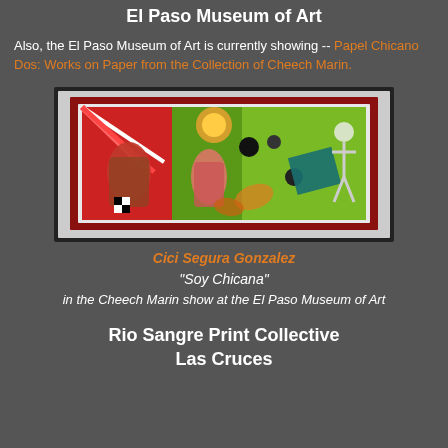El Paso Museum of Art
Also, the El Paso Museum of Art is currently showing -- Papel Chicano Dos: Works on Paper from the Collection of Cheech Marin.
[Figure (photo): A framed painting titled 'Soy Chicana' by Cici Segura Gonzalez, showing a colorful wide horizontal artwork with vibrant red, green, and orange hues depicting figures and abstract shapes, displayed in a red frame with white mat.]
Cici Segura Gonzalez
"Soy Chicana"
in the Cheech Marin show at the El Paso Museum of Art
Rio Sangre Print Collective
Las Cruces